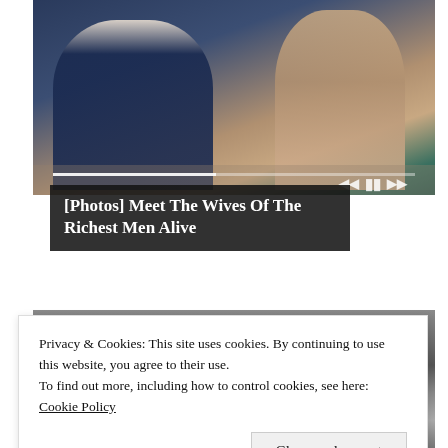[Figure (photo): Two people seated at what appears to be a sporting event. Man on left in dark navy suit with light tie. Woman on right with long brown hair wearing sunglasses and a patterned top with pink floral detail.]
[Photos] Meet The Wives Of The Richest Men Alive
[Figure (photo): Black and white photo partially visible beneath cookie consent banner.]
Privacy & Cookies: This site uses cookies. By continuing to use this website, you agree to their use.
To find out more, including how to control cookies, see here:
Cookie Policy
Close and accept